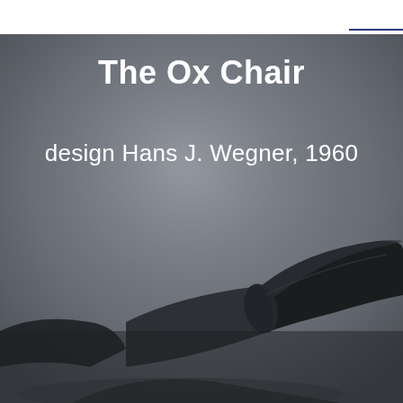[Figure (photo): Close-up photo of the Ox Chair designed by Hans J. Wegner in 1960, showing the distinctive rolled leather headrest/horns of the chair against a dark grey background. The chair appears in black leather with characteristic bull horn-shaped top rail, partially visible in the lower right of the image.]
The Ox Chair
design Hans J. Wegner, 1960